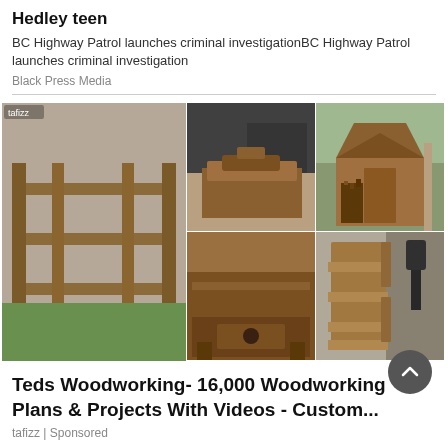Hedley teen
BC Highway Patrol launches criminal investigationBC Highway Patrol launches criminal investigation
Black Press Media
[Figure (photo): Collage of 6 woodworking project photos including furniture, outdoor structures, and decorative items made from wood]
Teds Woodworking- 16,000 Woodworking Plans & Projects With Videos - Custom...
tafizz | Sponsored